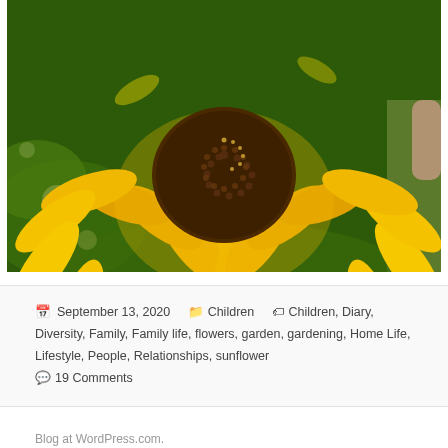[Figure (photo): Close-up photograph of a sunflower with bright yellow petals and a dark brown center disc, with green foliage in the background]
September 13, 2020  Children  Children, Diary, Diversity, Family, Family life, flowers, garden, gardening, Home Life, Lifestyle, People, Relationships, sunflower  19 Comments
Blog at WordPress.com.